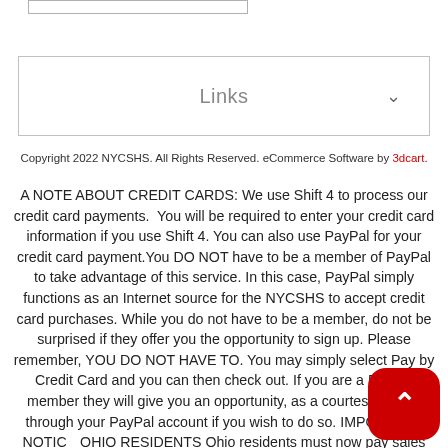Links
Copyright 2022 NYCSHS. All Rights Reserved. eCommerce Software by 3dcart.
A NOTE ABOUT CREDIT CARDS: We use Shift 4 to process our credit card payments. You will be required to enter your credit card information if you use Shift 4. You can also use PayPal for your credit card payment.You DO NOT have to be a member of PayPal to take advantage of this service. In this case, PayPal simply functions as an Internet source for the NYCSHS to accept credit card purchases. While you do not have to be a member, do not be surprised if they offer you the opportunity to sign up. Please remember, YOU DO NOT HAVE TO. You may simply select Pay by Credit Card and you can then check out. If you are a PayPal member they will give you an opportunity, as a courtesy, to pay through your PayPal account if you wish to do so. IMPORTANT NOTICE OHIO RESIDENTS Ohio residents must now pay sales tax on retail purchases. When you check out, Ohio residents